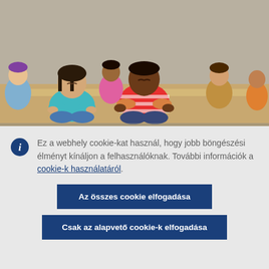[Figure (photo): Children sitting cross-legged on desks in a classroom, meditating with eyes closed, including a girl in teal and a boy in red and white striped shirt]
Ez a webhely cookie-kat használ, hogy jobb böngészési élményt kínáljon a felhasználóknak. További információk a cookie-k használatáról.
Az összes cookie elfogadása
Csak az alapvető cookie-k elfogadása